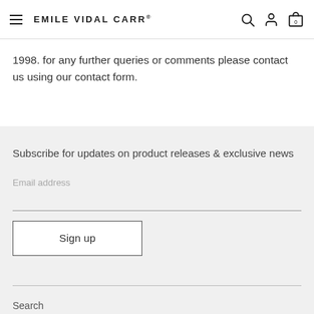EMILE VIDAL CARR
1998. for any further queries or comments please contact us using our contact form.
Subscribe for updates on product releases & exclusive news
Email address
Sign up
Search